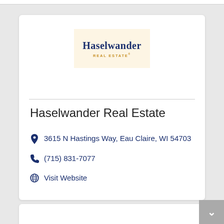[Figure (logo): Haselwander Real Estate logo on a cream/beige background. 'Haselwander' in dark navy serif font, 'REAL ESTATE' in small golden/amber tracking caps below.]
Haselwander Real Estate
3615 N Hastings Way, Eau Claire, WI 54703
(715) 831-7077
Visit Website